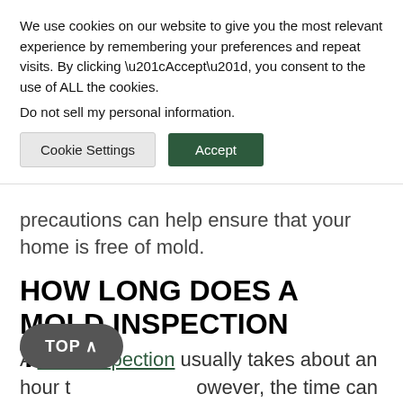We use cookies on our website to give you the most relevant experience by remembering your preferences and repeat visits. By clicking “Accept”, you consent to the use of ALL the cookies.
Do not sell my personal information.
Cookie Settings
Accept
precautions can help ensure that your home is free of mold.
HOW LONG DOES A MOLD INSPECTION TAKE?
A mold inspection usually takes about an hour t... however, the time can vary d... the size of the home and the number of areas of concern. The inspector will